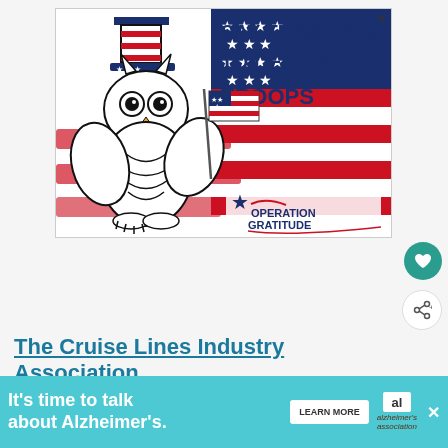[Figure (illustration): Advertisement banner for Operation Gratitude: cartoon owl wearing Uncle Sam hat waving American flag, with text 'SAY THANK YOU TO DEPLOYED TROOPS' on American flag background. Operation Gratitude logo at bottom right.]
The Cruise Lines Industry Association
(CLIA) said this latest CDC change recognizes protective measures the industry h... with u...
[Figure (screenshot): What's Next widget showing thumbnail of tropical water with text 'Cruise to the Bahamas -...']
[Figure (illustration): Bottom advertisement: 'It's time to talk about Alzheimer's.' on teal background with LEARN MORE button and Alzheimer's Association logo]